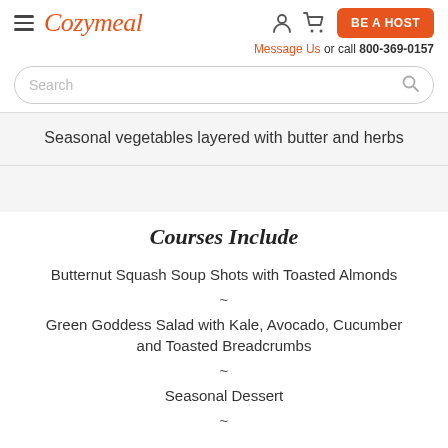Cozymeal — BE A HOST — Message Us or call 800-369-0157
Search
Seasonal vegetables layered with butter and herbs
Courses Include
Butternut Squash Soup Shots with Toasted Almonds
Green Goddess Salad with Kale, Avocado, Cucumber and Toasted Breadcrumbs
Seasonal Dessert